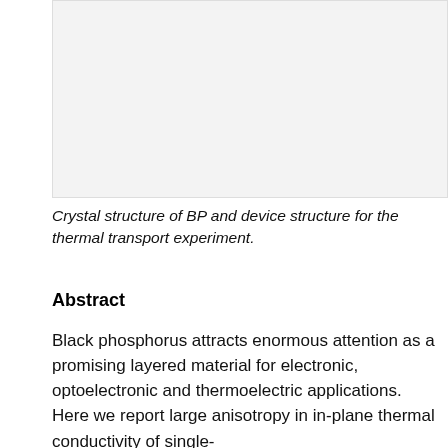[Figure (illustration): Light gray rectangular area representing a figure showing crystal structure of BP and device structure for thermal transport experiment.]
Crystal structure of BP and device structure for the thermal transport experiment.
Abstract
Black phosphorus attracts enormous attention as a promising layered material for electronic, optoelectronic and thermoelectric applications. Here we report large anisotropy in in-plane thermal conductivity of single-